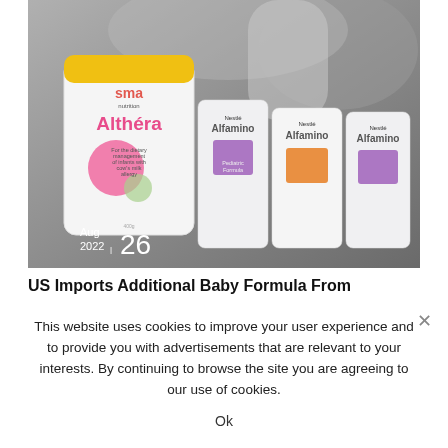[Figure (photo): Photo of baby formula products — SMA Althéra canister in foreground with yellow lid, and three Nestlé Alfamino canisters behind it, overlaid on a black-and-white background image of a baby being bottle-fed. Date stamp 'Aug 2022 | 26' appears in the lower-left corner of the image.]
US Imports Additional Baby Formula From...
This website uses cookies to improve your user experience and to provide you with advertisements that are relevant to your interests. By continuing to browse the site you are agreeing to our use of cookies.
Ok